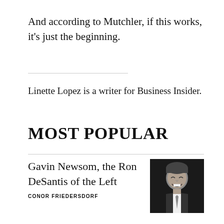And according to Mutchler, if this works, it's just the beginning.
Linette Lopez is a writer for Business Insider.
MOST POPULAR
Gavin Newsom, the Ron DeSantis of the Left
CONOR FRIEDERSDORF
[Figure (photo): Black and white photo of a man laughing, wearing a suit and tie, against a dark background.]